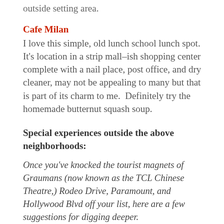outside setting area.
Cafe Milan
I love this simple, old lunch school lunch spot.  It's location in a strip mall–ish shopping center complete with a nail place, post office, and dry cleaner, may not be appealing to many but that is part of its charm to me.  Definitely try the homemade butternut squash soup.
Special experiences outside the above neighborhoods:
Once you've knocked the tourist magnets of Graumans (now known as the TCL Chinese Theatre,) Rodeo Drive, Paramount, and Hollywood Blvd off your list, here are a few suggestions for digging deeper.